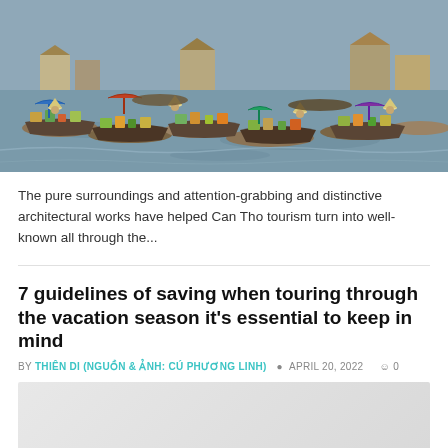[Figure (photo): Aerial view of a busy floating market with many boats filled with goods on a river, people wearing traditional conical hats]
The pure surroundings and attention-grabbing and distinctive architectural works have helped Can Tho tourism turn into well-known all through the...
7 guidelines of saving when touring through the vacation season it's essential to keep in mind
BY THIÊN DI (NGUỒN & ẢNH: CÚ PHƯƠNG LINH)   APRIL 20, 2022  0
[Figure (photo): Article image placeholder for the 7 guidelines article, light gray background]